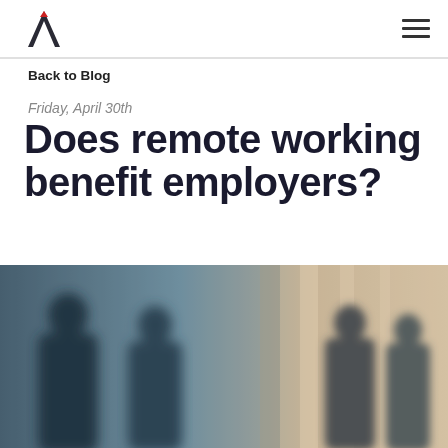A (logo) | navigation hamburger menu
Back to Blog
Friday, April 30th
Does remote working benefit employers?
[Figure (photo): Blurred silhouettes of business people in suits standing and conversing in a bright, softly lit interior space with blue-teal toned lighting.]